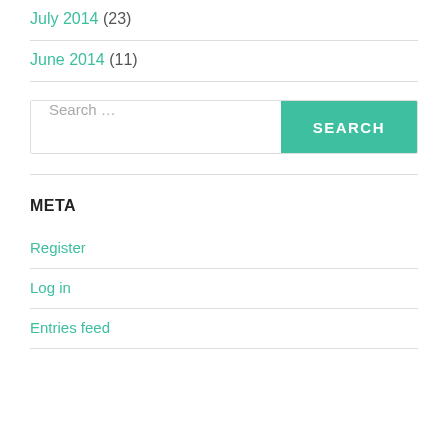July 2014 (23)
June 2014 (11)
Search ...
META
Register
Log in
Entries feed